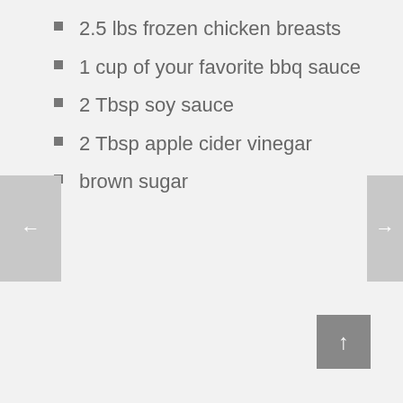2.5 lbs frozen chicken breasts
1 cup of your favorite bbq sauce
2 Tbsp soy sauce
2 Tbsp apple cider vinegar
brown sugar